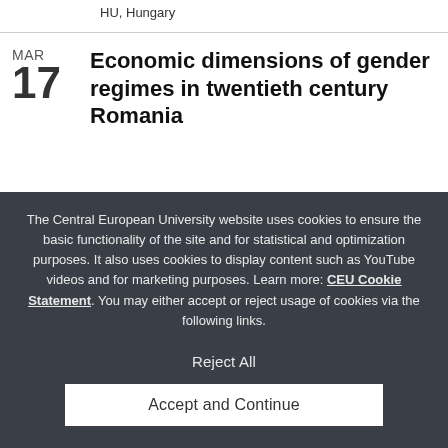CEU Campus | Nador utca, 1051 Budapest HU, Hungary
Economic dimensions of gender regimes in twentieth century Romania
The Central European University website uses cookies to ensure the basic functionality of the site and for statistical and optimization purposes. It also uses cookies to display content such as YouTube videos and for marketing purposes. Learn more: CEU Cookie Statement. You may either accept or reject usage of cookies via the following links.
Reject All
Accept and Continue